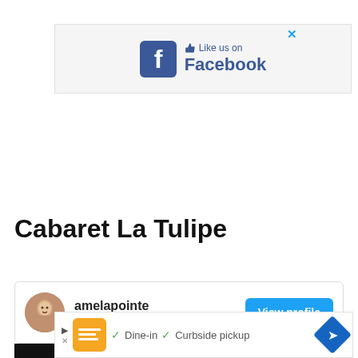[Figure (screenshot): Facebook 'Like us on Facebook' advertisement banner with Facebook logo icon and thumbs up icon]
Cabaret La Tulipe
[Figure (screenshot): User profile card showing 'amelapointe' with 998 followers and a 'View profile' button in blue]
[Figure (screenshot): Bottom advertisement banner with orange logo, Dine-in and Curbside pickup checkmarks, and navigation diamond icon]